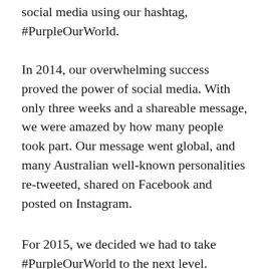social media using our hashtag, #PurpleOurWorld.
In 2014, our overwhelming success proved the power of social media. With only three weeks and a shareable message, we were amazed by how many people took part. Our message went global, and many Australian well-known personalities re-tweeted, shared on Facebook and posted on Instagram.
For 2015, we decided we had to take #PurpleOurWorld to the next level.
We began talks with journalist Tracey Spicer and